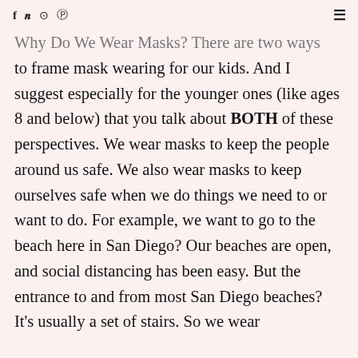f  y  ⊙  ⊕  ≡
Why Do We Wear Masks? There are two ways to frame mask wearing for our kids.  And I suggest especially for the younger ones (like ages 8 and below) that you talk about BOTH of these perspectives.  We wear masks to keep the people around us safe.  We also wear masks to keep ourselves safe when we do things we need to or want to do.  For example, we want to go to the beach here in San Diego? Our beaches are open, and social distancing has been easy.  But the entrance to and from most San Diego beaches? It's usually a set of stairs.  So we wear